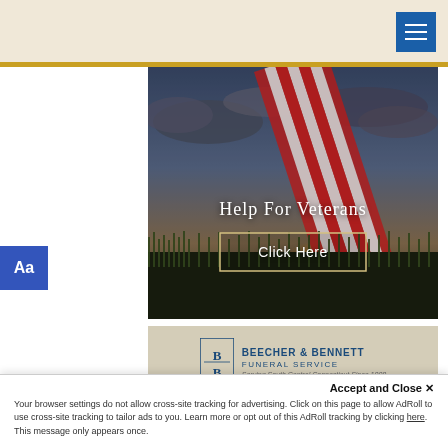[Figure (screenshot): Top beige website header bar with hamburger menu icon (three white lines on blue background) in top right corner]
[Figure (photo): Hero image of an American flag waving in a field at sunset with dramatic cloudy sky. Text overlay reads 'Help For Veterans' with a 'Click Here' button below.]
Help For Veterans
Click Here
[Figure (logo): Beecher & Bennett Funeral Service logo on a tan/beige background. Shows 'BB' monogram icon, text 'BEECHER & BENNETT', 'FUNERAL SERVICE', and italic tagline.]
Accept and Close ✕
Your browser settings do not allow cross-site tracking for advertising. Click on this page to allow AdRoll to use cross-site tracking to tailor ads to you. Learn more or opt out of this AdRoll tracking by clicking here. This message only appears once.